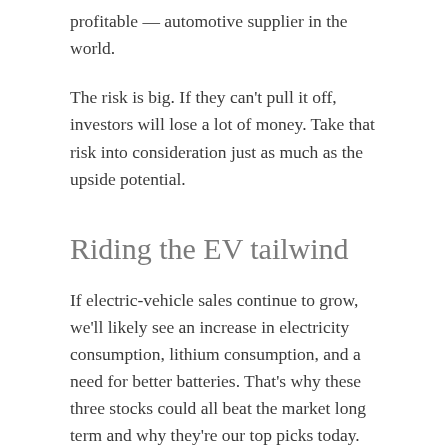profitable — automotive supplier in the world.
The risk is big. If they can't pull it off, investors will lose a lot of money. Take that risk into consideration just as much as the upside potential.
Riding the EV tailwind
If electric-vehicle sales continue to grow, we'll likely see an increase in electricity consumption, lithium consumption, and a need for better batteries. That's why these three stocks could all beat the market long term and why they're our top picks today.
This article represents the opinion of the writer, who may disagree with the “official” recommendation position of a Motley Fool premium advisory service. We’re motley! Questioning an investing thesis — even one of our own